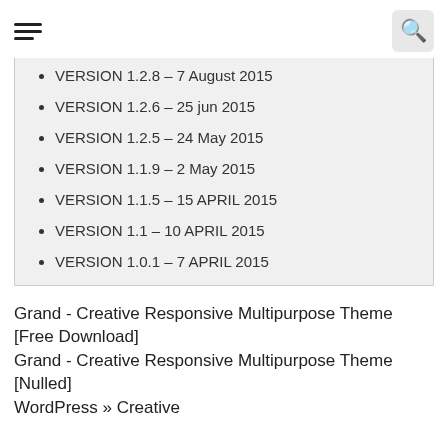[hamburger menu icon] [search icon]
VERSION 1.2.8 – 7 August 2015
VERSION 1.2.6 – 25 jun 2015
VERSION 1.2.5 – 24 May 2015
VERSION 1.1.9 – 2 May 2015
VERSION 1.1.5 – 15 APRIL 2015
VERSION 1.1 – 10 APRIL 2015
VERSION 1.0.1 – 7 APRIL 2015
Grand - Creative Responsive Multipurpose Theme [Free Download]
Grand - Creative Responsive Multipurpose Theme [Nulled]
WordPress » Creative